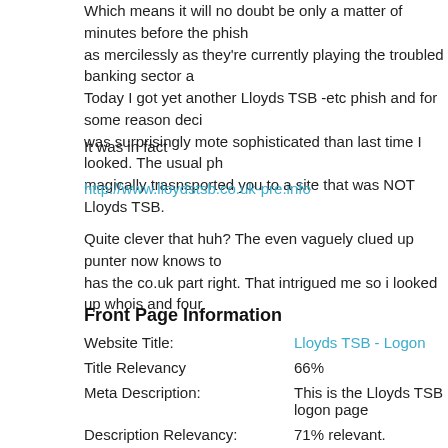Which means it will no doubt be only a matter of minutes before thephis as mercilessly as they're currently playing the troubled banking sector a Today I got yet another Lloyds TSB -etc phish and for some reason deci was surprisingly mote sophisticated than last time I looked. The usual ph magically trasnsported you to a site that was NOT Lloyds TSB.
It was in fact
http://www.lloydstsb.co.uk-pre.info
Quite clever that huh? The even vaguely clued up punter now knows to has the co.uk part right. That intrigued me so i looked up whois and four
Front Page Information
| Website Title: | Lloyds TSB - Logon |
| Title Relevancy | 66% |
| Meta Description: | This is the Lloyds TSB logon page |
| Description Relevancy: | 71% relevant. |
| AboutUs: | Wiki article on Uk-pre.info |
So they've again anticipated the even vaguely clued up punter and pois Now that IS bad. The fake Wiki article link is also quite neat. I checked a Wikipedia itself but an obviously f(ph)ishy advertising site. However i'm easily congruent to a real Wiki article. After all it only has to stop some